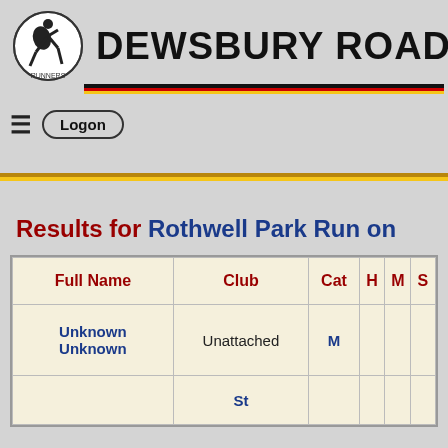DEWSBURY ROAD
Logon
Results for Rothwell Park Run on
| Full Name | Club | Cat | H | M | S |
| --- | --- | --- | --- | --- | --- |
| Unknown Unknown | Unattached | M |  |  |  |
|  | St |  |  |  |  |